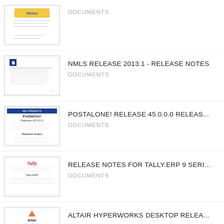[Figure (screenshot): Thumbnail of a document with a colorful logo at top]
DOCUMENTS
[Figure (screenshot): Thumbnail of NMLS Release 2013.1 Release Notes document]
NMLS RELEASE 2013.1 - RELEASE NOTES
DOCUMENTS
[Figure (screenshot): Thumbnail of PostAlone! Release 45.0.0.0 Release Notes document]
POSTALONE! RELEASE 45.0.0.0 RELEAS...
DOCUMENTS
[Figure (screenshot): Thumbnail of Release Notes for Tally.ERP 9 Series document]
RELEASE NOTES FOR TALLY.ERP 9 SERI...
DOCUMENTS
[Figure (screenshot): Thumbnail of Altair HyperWorks Desktop Release Notes document]
ALTAIR HYPERWORKS DESKTOP RELEA...
DOCUMENTS